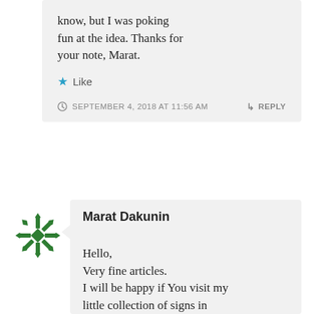know, but I was poking fun at the idea. Thanks for your note, Marat.
★ Like
SEPTEMBER 4, 2018 AT 11:56 AM
↳ REPLY
[Figure (logo): Green geometric snowflake/star pattern avatar for Marat Dakunin]
Marat Dakunin
Hello,
Very fine articles.
I will be happy if You visit my little collection of signs in